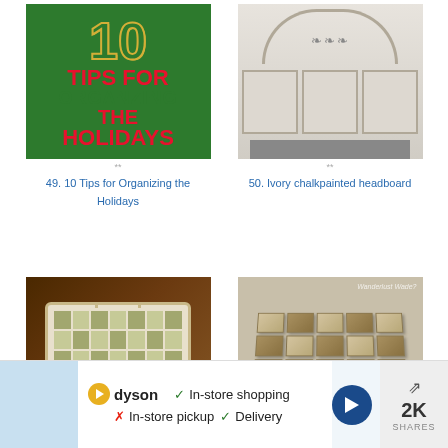[Figure (photo): Holiday organizing tips graphic with green background and red/green text reading '10 TIPS FOR ORGANZING THE HOLIDAYS']
**
49. 10 Tips for Organizing the Holidays
[Figure (photo): Ivory chalkpainted headboard with arch detail and white panels]
**
50. Ivory chalkpainted headboard
[Figure (photo): Mosaic tile serving tray with green tile inlay on white tray background]
** likes (1) **
[Figure (photo): 3D wood block wall art arranged in basket-weave pattern]
**
In-store shopping
In-store pickup   Delivery